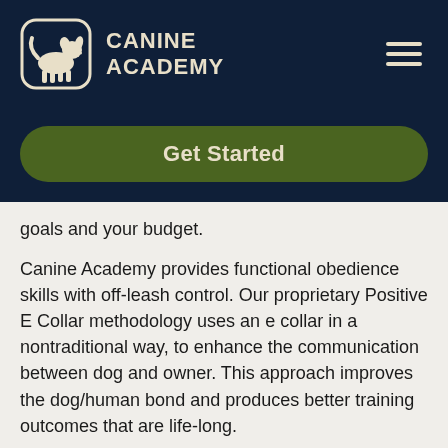CANINE ACADEMY
Get Started
goals and your budget.
Canine Academy provides functional obedience skills with off-leash control. Our proprietary Positive E Collar methodology uses an e collar in a nontraditional way, to enhance the communication between dog and owner. This approach improves the dog/human bond and produces better training outcomes that are life-long.
Our system relies on positive reinforcement, where the desired results elicit a reward (affection) for the dog. We believe that you can train a dog for obedience without causing the dog any physical pain through an e collar.